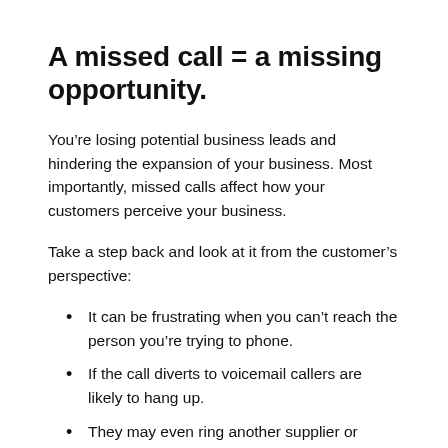A missed call = a missing opportunity.
You’re losing potential business leads and hindering the expansion of your business. Most importantly, missed calls affect how your customers perceive your business.
Take a step back and look at it from the customer’s perspective:
It can be frustrating when you can’t reach the person you’re trying to phone.
If the call diverts to voicemail callers are likely to hang up.
They may even ring another supplier or competitor instead.